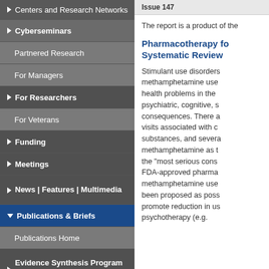Centers and Research Networks
Cyberseminars
Partnered Research
For Managers
For Researchers
For Veterans
Funding
Meetings
News | Features | Multimedia
Publications & Briefs
Publications Home
Evidence Synthesis Program (ESP)
FORUM
In Progress
Issue 147
The report is a product of the
Pharmacotherapy fo Systematic Review
Stimulant use disorders methamphetamine use health problems in the psychiatric, cognitive, s consequences. There a visits associated with c substances, and severa methamphetamine as t the "most serious cons FDA-approved pharma methamphetamine use been proposed as poss promote reduction in us psychotherapy (e.g.